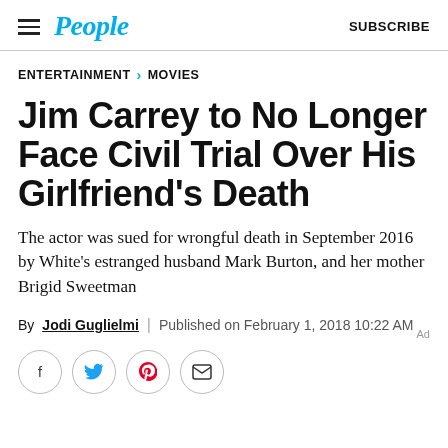People | SUBSCRIBE
ENTERTAINMENT > MOVIES
Jim Carrey to No Longer Face Civil Trial Over His Girlfriend's Death
The actor was sued for wrongful death in September 2016 by White's estranged husband Mark Burton, and her mother Brigid Sweetman
By Jodi Guglielmi | Published on February 1, 2018 10:22 AM
[Figure (other): Social share buttons: Facebook, Twitter, Pinterest, Email]